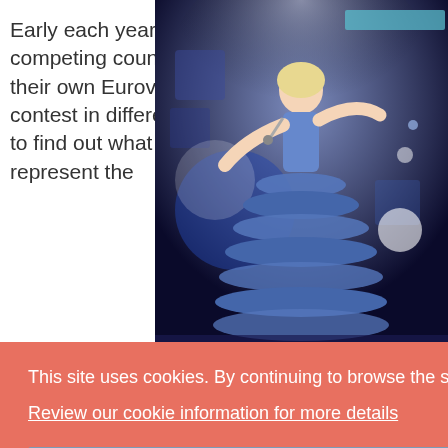Early each year, the competing countries have their own Eurovision contest in different ways, to find out what artist will represent the
[Figure (photo): A female singer in a blue ruffled/tiered gown performing on a Eurovision-style stage with blue atmospheric lighting and large decorative elements in the background.]
sers. als and natically each e.
ed on d and nor than 3
This site uses cookies. By continuing to browse the site you are agreeing to our use of cookies.
Review our cookie information for more details
Got it!
Each competition follows with a voting where each participating